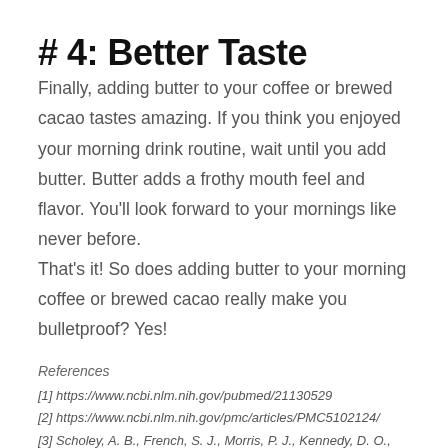# 4: Better Taste
Finally, adding butter to your coffee or brewed cacao tastes amazing. If you think you enjoyed your morning drink routine, wait until you add butter. Butter adds a frothy mouth feel and flavor. You’ll look forward to your mornings like never before.
That’s it! So does adding butter to your morning coffee or brewed cacao really make you bulletproof? Yes!
References
[1] https://www.ncbi.nlm.nih.gov/pubmed/21130529
[2] https://www.ncbi.nlm.nih.gov/pmc/articles/PMC5102124/
[3] Scholey, A. B., French, S. J., Morris, P. J., Kennedy, D. O., Milne, A. L., &